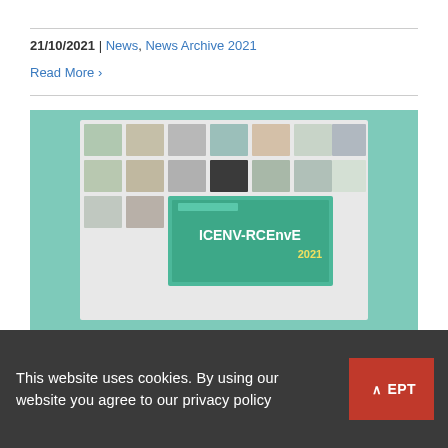21/10/2021 | News, News Archive 2021
Read More >
[Figure (photo): Screenshot of a virtual conference (ICENV-RCEnvE 2021) showing a grid of participant video tiles and a conference banner with the event name on a green background.]
This website uses cookies. By using our website you agree to our privacy policy